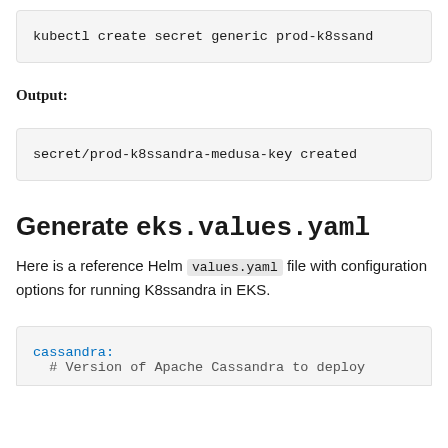kubectl create secret generic prod-k8ssand
Output:
secret/prod-k8ssandra-medusa-key created
Generate eks.values.yaml
Here is a reference Helm values.yaml file with configuration options for running K8ssandra in EKS.
cassandra:
  # Version of Apache Cassandra to deploy